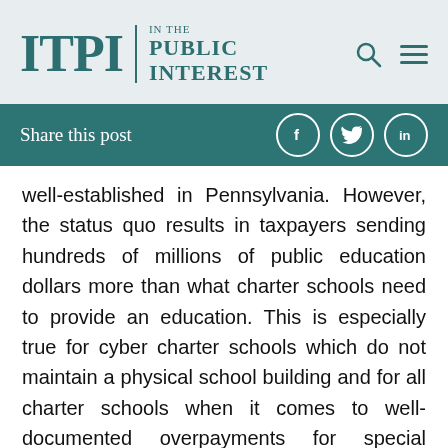ITPI IN THE PUBLIC INTEREST
Share this post
well-established in Pennsylvania. However, the status quo results in taxpayers sending hundreds of millions of public education dollars more than what charter schools need to provide an education. This is especially true for cyber charter schools which do not maintain a physical school building and for all charter schools when it comes to well-documented overpayments for special education services. There’s a word for this type of spending—wasteful. And residents across the state feel the impact of these overpayments when their